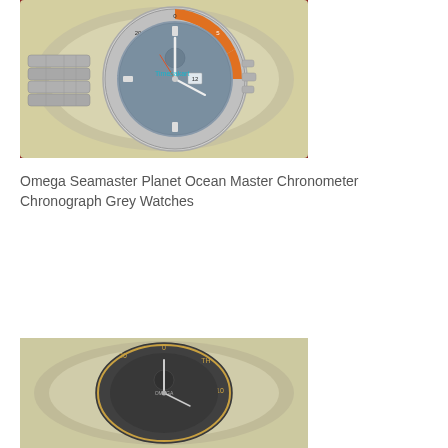[Figure (photo): Close-up photo of an Omega Seamaster Planet Ocean watch with grey dial and orange bezel accent, displayed on a cream/beige cushion inside a watch box with dark red lining. Watch has a stainless steel bracelet and chronograph pushers visible. A watermark reads 'Timesakart' in teal.]
Omega Seamaster Planet Ocean Master Chronometer Chronograph Grey Watches
[Figure (photo): Close-up photo of an Omega watch, dark dial with gold/bronze accents on bezel, displayed on a cream cushion inside a watch box with dark red lining. Partial view showing the watch face from above.]